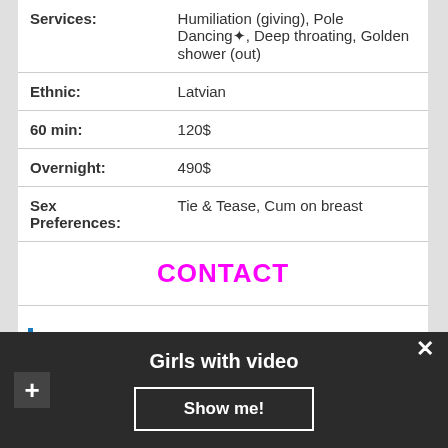| Services: | Humiliation (giving), Pole Dancing⌘, Deep throating, Golden shower (out) |
| Ethnic: | Latvian |
| 60 min: | 120$ |
| Overnight: | 490$ |
| Sex Preferences: | Tie & Tease, Cum on breast |
CONTACT
i am a great looking woman, 30yo, blond, great body that is born to sins
Girls with video
Show me!